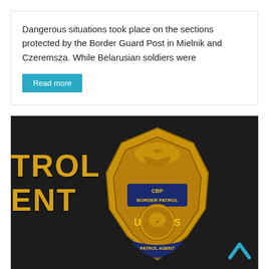Dangerous situations took place on the sections protected by the Border Guard Post in Mielnik and Czeremsza. While Belarusian soldiers were
Read more
[Figure (photo): Close-up photo of a CBP Border Patrol Agent uniform showing a gold badge reading 'CBP BORDER PATROL / US PATROL AGENT' and a black patch with yellow letters 'TROL' and 'ENT' visible on the left side of the uniform.]